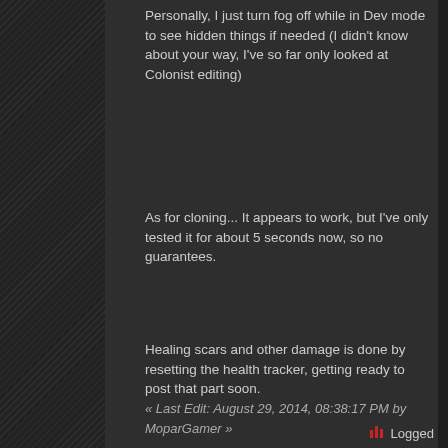Personally, I just turn fog off while in Dev mode to see hidden things if needed (I didn't know about your way, I've so far only looked at Colonist editing)
As for cloning... It appears to work, but I've only tested it for about 5 seconds now, so no guarantees.
Healing scars and other damage is done by resetting the health tracker, getting ready to post that part soon.
« Last Edit: August 29, 2014, 08:38:17 PM by MoparGamer »
Logged